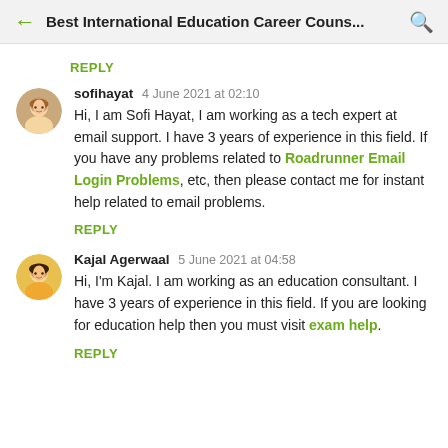Best International Education Career Couns...
REPLY
sofihayat  4 June 2021 at 02:10
Hi, I am Sofi Hayat, I am working as a tech expert at email support. I have 3 years of experience in this field. If you have any problems related to Roadrunner Email Login Problems, etc, then please contact me for instant help related to email problems.
REPLY
Kajal Agerwaal  5 June 2021 at 04:58
Hi, I'm Kajal. I am working as an education consultant. I have 3 years of experience in this field. If you are looking for education help then you must visit exam help.
REPLY